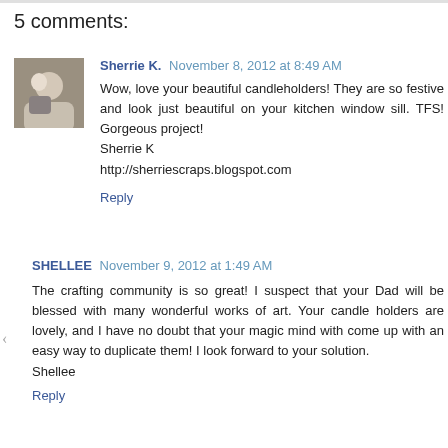5 comments:
Sherrie K.  November 8, 2012 at 8:49 AM

Wow, love your beautiful candleholders! They are so festive and look just beautiful on your kitchen window sill. TFS! Gorgeous project!
Sherrie K
http://sherriescraps.blogspot.com
Reply
SHELLEE  November 9, 2012 at 1:49 AM

The crafting community is so great! I suspect that your Dad will be blessed with many wonderful works of art. Your candle holders are lovely, and I have no doubt that your magic mind with come up with an easy way to duplicate them! I look forward to your solution.
Shellee
Reply